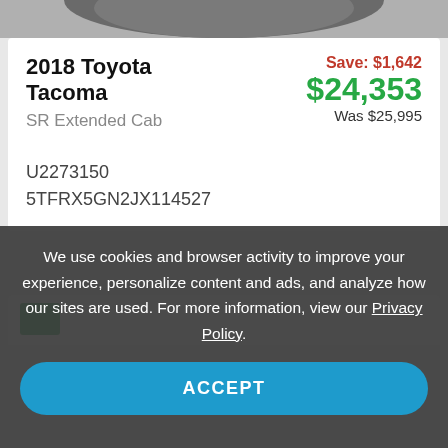[Figure (photo): Top portion of a Toyota Tacoma vehicle photo, showing the roof/top of the truck in gray]
2018 Toyota Tacoma
SR Extended Cab
Save: $1,642
$24,353
Was $25,995
U2273150
5TFRX5GN2JX114527
[Figure (screenshot): Partial second car listing card with green badge visible]
We use cookies and browser activity to improve your experience, personalize content and ads, and analyze how our sites are used. For more information, view our Privacy Policy.
ACCEPT